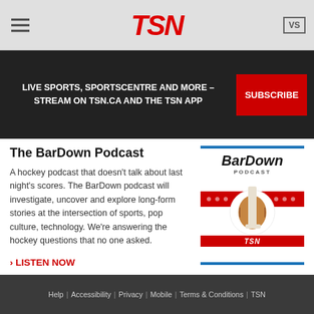TSN
LIVE SPORTS, SPORTSCENTRE AND MORE – STREAM ON TSN.CA AND THE TSN APP
The BarDown Podcast
A hockey podcast that doesn't talk about last night's scores. The BarDown podcast will investigate, uncover and explore long-form stories at the intersection of sports, pop culture, technology. We're answering the hockey questions that no one asked.
› LISTEN NOW
[Figure (illustration): BarDown Podcast logo showing a hockey puck/stick illustration with red horizontal stripes and the BarDown Podcast text logo]
› MORE TSN PODCASTS
Help | Accessibility | Privacy | Mobile | Terms & Conditions | TSN